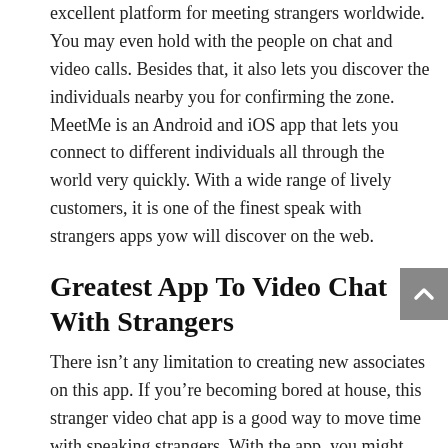excellent platform for meeting strangers worldwide. You may even hold with the people on chat and video calls. Besides that, it also lets you discover the individuals nearby you for confirming the zone. MeetMe is an Android and iOS app that lets you connect to different individuals all through the world very quickly. With a wide range of lively customers, it is one of the finest speak with strangers apps yow will discover on the web.
Greatest App To Video Chat With Strangers
There isn't any limitation to creating new associates on this app. If you're becoming bored at house, this stranger video chat app is a good way to move time with speaking strangers. With the app, you might also use its website to do video chats. Chatki is the most effective free video name software for shy individuals who hesitate to make new friends. You can discover random people on the chat roulette video call. There